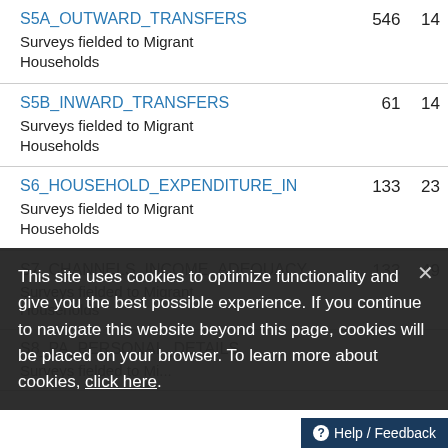| Survey Name | Count | Num |
| --- | --- | --- |
| S5A_OUTWARD_TRANSFERS
Surveys fielded to Migrant Households | 546 | 14 |
| S5B_INWARD_TRANSFERS
Surveys fielded to Migrant Households | 61 | 14 |
| S6_HOUSEHOLD_EXPENDITURE_IN
Surveys fielded to Migrant Households | 133 | 23 |
| S7_CHANNELS_INCOME_ADEQUACY
Surveys fielded to Migrant Households | 133 | 49 |
| S8_PA_PERSONAL_DETAILS
Surveys fielded to Mi... |  |  |
This site uses cookies to optimize functionality and give you the best possible experience. If you continue to navigate this website beyond this page, cookies will be placed on your browser. To learn more about cookies, click here.